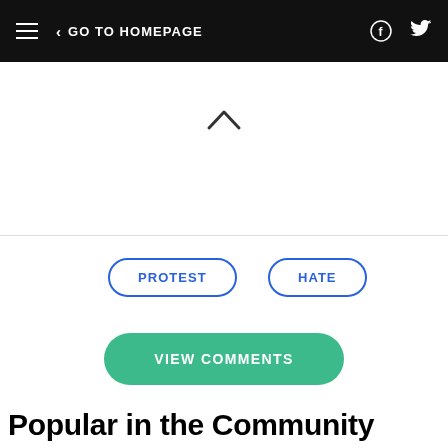GO TO HOMEPAGE
[Figure (other): Caret/chevron up icon indicating collapse or scroll up]
PROTEST
HATE
VIEW COMMENTS
Popular in the Community